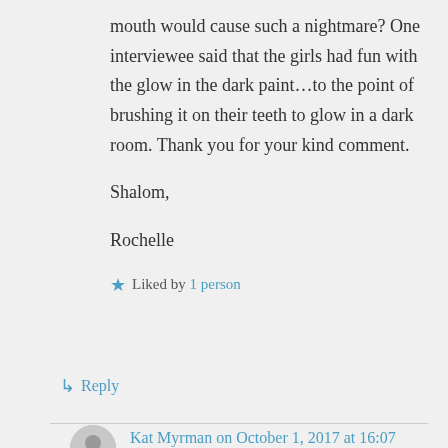mouth would cause such a nightmare? One interviewee said that the girls had fun with the glow in the dark paint...to the point of brushing it on their teeth to glow in a dark room. Thank you for your kind comment.
Shalom,
Rochelle
★ Liked by 1 person
↳ Reply
Kat Myrman on October 1, 2017 at 16:07
How horrible that is Rochelle! There